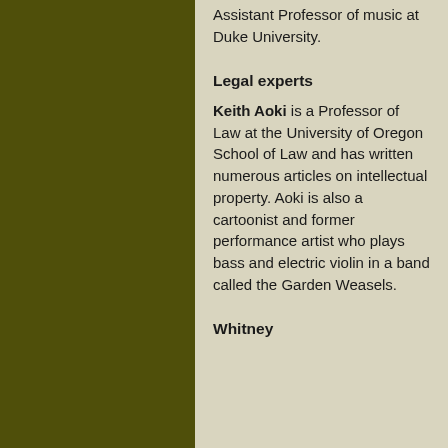Assistant Professor of music at Duke University.
Legal experts
Keith Aoki is a Professor of Law at the University of Oregon School of Law and has written numerous articles on intellectual property. Aoki is also a cartoonist and former performance artist who plays bass and electric violin in a band called the Garden Weasels.
Whitney